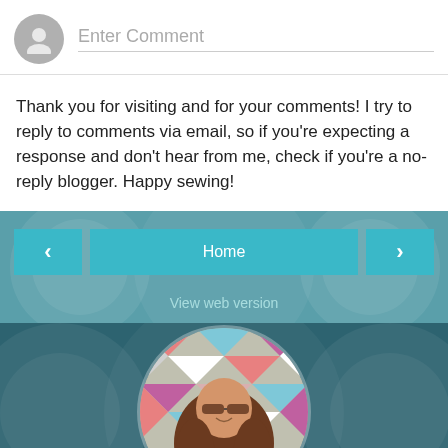[Figure (screenshot): Comment input area with gray avatar circle and 'Enter Comment' placeholder text input field]
Thank you for visiting and for your comments! I try to reply to comments via email, so if you're expecting a response and don't hear from me, check if you're a no-reply blogger. Happy sewing!
[Figure (screenshot): Navigation bar with teal background and decorative circles, containing left arrow button, Home button, right arrow button, and 'View web version' link]
[Figure (photo): Circular profile photo of a woman with long brown hair wearing glasses and a teal necklace, with a colorful quilt background]